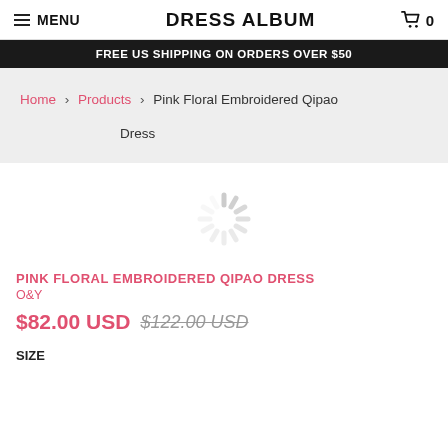MENU  DRESS ALBUM  0
FREE US SHIPPING ON ORDERS OVER $50
Home › Products › Pink Floral Embroidered Qipao Dress
[Figure (other): Loading spinner / activity indicator graphic]
PINK FLORAL EMBROIDERED QIPAO DRESS
O&Y
$82.00 USD  $122.00 USD
SIZE